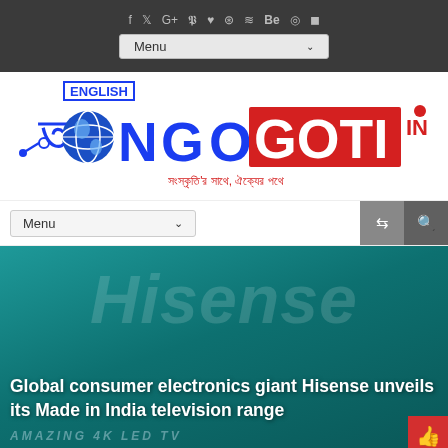Social icons bar with Menu dropdown
[Figure (logo): Ongoti English news website logo with Bengali tagline. ENGLISH in blue box, Bengali character for 'O', globe, NGO in blue letters, GOTI in white on red background, IN in red. Bengali tagline in red: সংস্কৃতি'র সাথে, ঐক্যের পথে]
Menu
[Figure (photo): Hisense brand banner with teal/dark teal background showing Hisense logo in large semi-transparent italic text and AMAZING 4K LED TV text at bottom]
Global consumer electronics giant Hisense unveils its Made in India television range